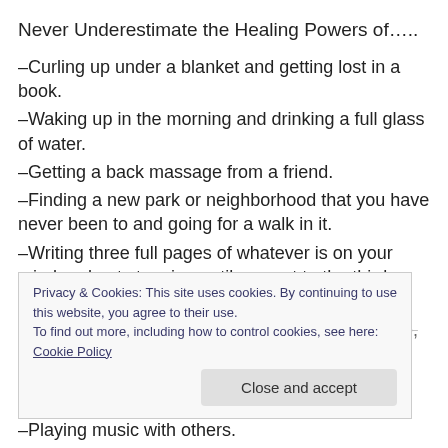Never Underestimate the Healing Powers of…..
–Curling up under a blanket and getting lost in a book.
–Waking up in the morning and drinking a full glass of water.
–Getting a back massage from a friend.
–Finding a new park or neighborhood that you have never been to and going for a walk in it.
–Writing three full pages of whatever is on your mind and not stopping until you get to the third page.
–Savoring a warm cup of hot chocolate/tea/coffee, drinking…
Privacy & Cookies: This site uses cookies. By continuing to use this website, you agree to their use. To find out more, including how to control cookies, see here: Cookie Policy
–Playing music with others.